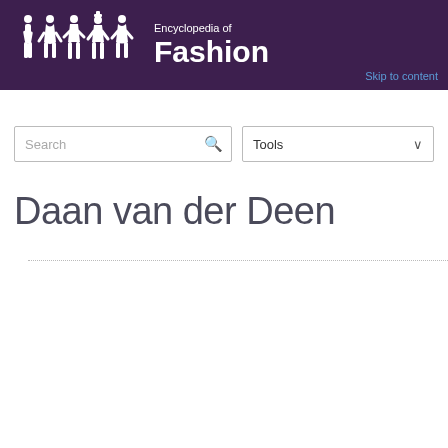Encyclopedia of Fashion
Skip to content
Daan van der Deen